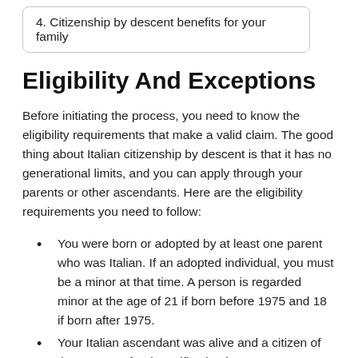4. Citizenship by descent benefits for your family
Eligibility And Exceptions
Before initiating the process, you need to know the eligibility requirements that make a valid claim. The good thing about Italian citizenship by descent is that it has no generational limits, and you can apply through your parents or other ascendants. Here are the eligibility requirements you need to follow:
You were born or adopted by at least one parent who was Italian. If an adopted individual, you must be a minor at that time. A person is regarded minor at the age of 21 if born before 1975 and 18 if born after 1975.
Your Italian ascendant was alive and a citizen of the country after its unification in 1861.